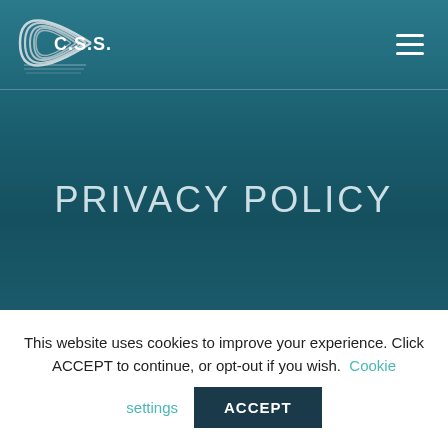[Figure (logo): C.S.S. company logo with concentric arc shapes on a teal background header bar]
PRIVACY POLICY
This website uses cookies to improve your experience. Click ACCEPT to continue, or opt-out if you wish. Cookie settings ACCEPT